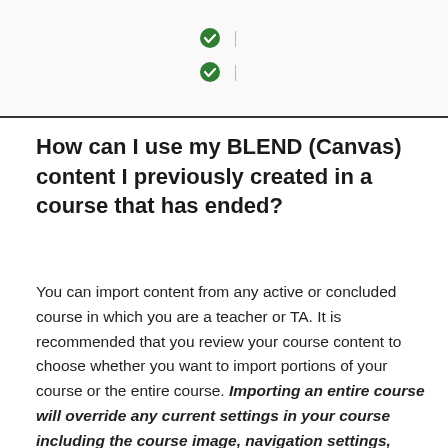[Figure (other): Partial table with two rows showing green checkmark icons and pipe characters]
How can I use my BLEND (Canvas) content I previously created in a course that has ended?
You can import content from any active or concluded course in which you are a teacher or TA. It is recommended that you review your course content to choose whether you want to import portions of your course or the entire course. Importing an entire course will override any current settings in your course including the course image, navigation settings, course settings, and others. It is recommended that you remove all due dates by selecting the appropriate options under "Adjust